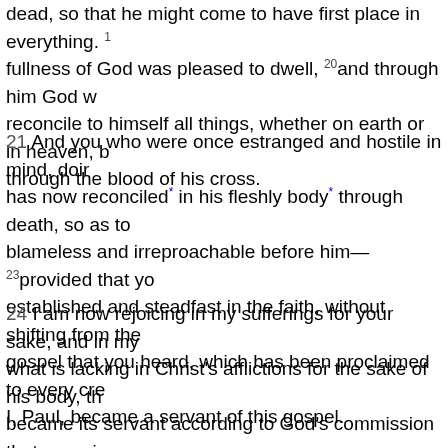he is the head of the body, the church; he is the beginning, the firstborn from the dead, so that he might come to have first place in everything. 19 for in him all the fullness of God was pleased to dwell, 20and through him God was pleased to reconcile to himself all things, whether on earth or in heaven, by making peace through the blood of his cross.
21 And you who were once estranged and hostile in mind, doing evil deeds, he has now reconciled* in his fleshly body* through death, so as to present you holy, blameless and irreproachable before him— 23provided that you continue securely established and steadfast in the faith, without shifting from the hope promised by the gospel that you heard, which has been proclaimed to every creature under heaven; I, Paul, became a servant of this gospel.
24 I am now rejoicing in my sufferings for your sake, and in my flesh I am completing what is lacking in Christ's afflictions for the sake of his body, that is, the church. 25I became its servant according to God's commission that was given to me for you, to make the word of God fully known, 26the mystery that has been hidden throughout the ages and generations but has now been revealed to his saints. 27To them God chose to make known how great among the Gentiles are the riches